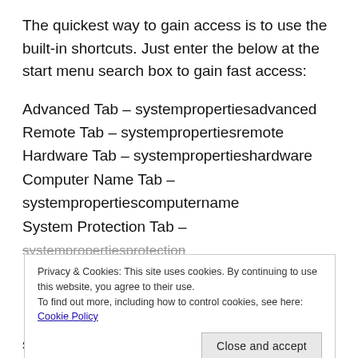The quickest way to gain access is to use the built-in shortcuts. Just enter the below at the start menu search box to gain fast access:
Advanced Tab – systempropertiesadvanced
Remote Tab – systempropertiesremote
Hardware Tab – systempropertieshardware
Computer Name Tab – systempropertiescomputername
System Protection Tab – systempropertiesprotection
Privacy & Cookies: This site uses cookies. By continuing to use this website, you agree to their use. To find out more, including how to control cookies, see here: Cookie Policy
systempropertiesperformance